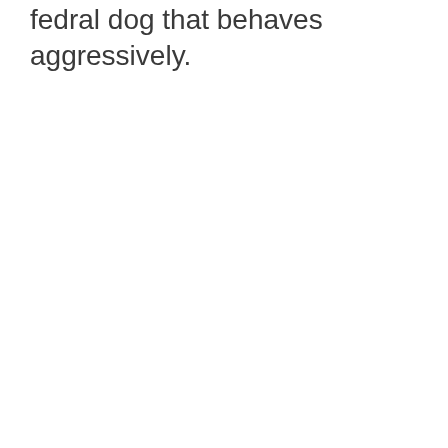fedral dog that behaves aggressively.